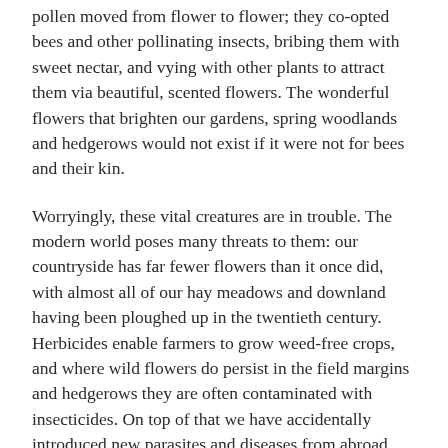pollen moved from flower to flower; they co-opted bees and other pollinating insects, bribing them with sweet nectar, and vying with other plants to attract them via beautiful, scented flowers. The wonderful flowers that brighten our gardens, spring woodlands and hedgerows would not exist if it were not for bees and their kin.
Worryingly, these vital creatures are in trouble. The modern world poses many threats to them: our countryside has far fewer flowers than it once did, with almost all of our hay meadows and downland having been ploughed up in the twentieth century. Herbicides enable farmers to grow weed-free crops, and where wild flowers do persist in the field margins and hedgerows they are often contaminated with insecticides. On top of that we have accidentally introduced new parasites and diseases from abroad that attack both honeybees and our wild, native bees. As a result, many of our bees are less common than